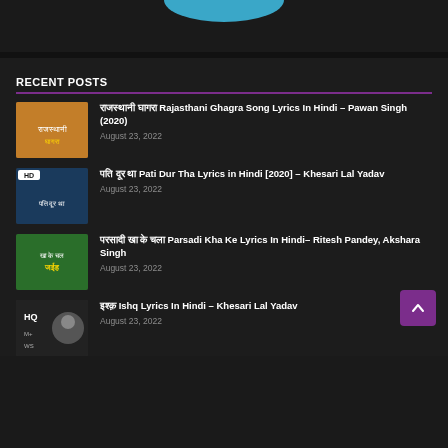[Figure (illustration): Partial teal/blue oval shape visible at top of page]
RECENT POSTS
राजस्थानी घागरा Rajasthani Ghagra Song Lyrics In Hindi – Pawan Singh (2020) | August 23, 2022
पति दूर था Pati Dur Tha Lyrics in Hindi [2020] – Khesari Lal Yadav | August 23, 2022
परसादी खा के चला Parsadi Kha Ke Lyrics In Hindi– Ritesh Pandey, Akshara Singh | August 23, 2022
इश्क़ Ishq Lyrics In Hindi – Khesari Lal Yadav | August 23, 2022